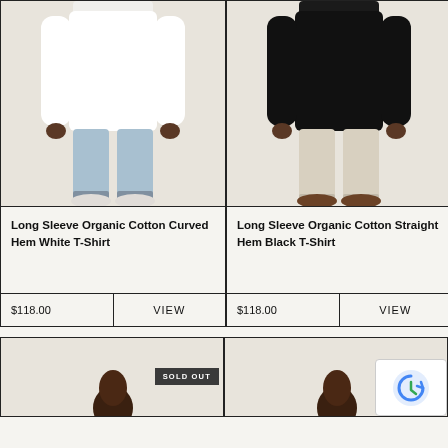[Figure (photo): Model wearing Long Sleeve Organic Cotton Curved Hem White T-Shirt with light blue jeans and white sneakers]
Long Sleeve Organic Cotton Curved Hem White T-Shirt
$118.00
VIEW
[Figure (photo): Model wearing Long Sleeve Organic Cotton Straight Hem Black T-Shirt with cream trousers and brown shoes]
Long Sleeve Organic Cotton Straight Hem Black T-Shirt
$118.00
VIEW
[Figure (photo): Bottom product card with SOLD OUT badge, partial model photo visible]
[Figure (photo): Bottom product card with SOLD OUT badge, partial model photo visible]